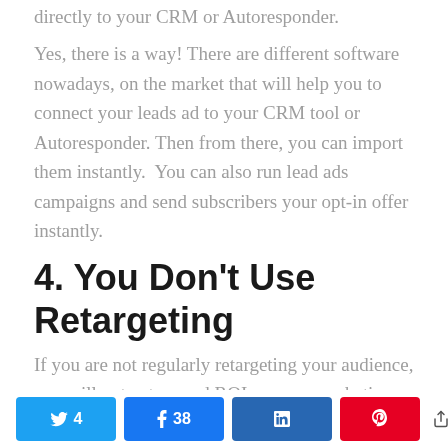directly to your CRM or Autoresponder.
Yes, there is a way! There are different software nowadays, on the market that will help you to connect your leads ad to your CRM tool or Autoresponder. Then from there, you can import them instantly.  You can also run lead ads campaigns and send subscribers your opt-in offer instantly.
4. You Don’t Use Retargeting
If you are not regularly retargeting your audience, you will not get a good ROI on your marketing campaign.  This is because customers need “multiple approaches” before they make a purchase.